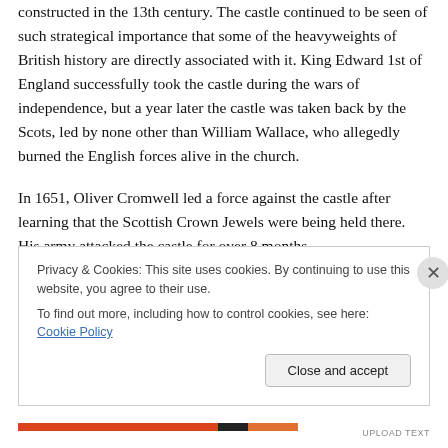constructed in the 13th century. The castle continued to be seen of such strategical importance that some of the heavyweights of British history are directly associated with it. King Edward 1st of England successfully took the castle during the wars of independence, but a year later the castle was taken back by the Scots, led by none other than William Wallace, who allegedly burned the English forces alive in the church.
In 1651, Oliver Cromwell led a force against the castle after learning that the Scottish Crown Jewels were being held there. His army attacked the castle for over 8 months
Privacy & Cookies: This site uses cookies. By continuing to use this website, you agree to their use.
To find out more, including how to control cookies, see here: Cookie Policy
Close and accept